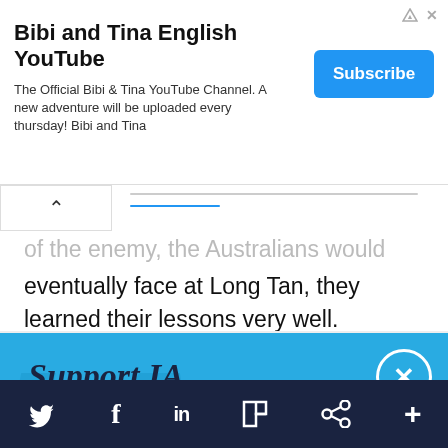[Figure (screenshot): Advertisement banner for Bibi and Tina English YouTube channel with Subscribe button]
...of the enemy, the Australians would eventually face at Long Tan, they learned their lessons very well.
Support IA
Subscribe to IA and investigate Australia today.
Close  Subscribe  Donate
[Figure (screenshot): Footer social media bar with Twitter, Facebook, LinkedIn, Flipboard, share, and plus icons]